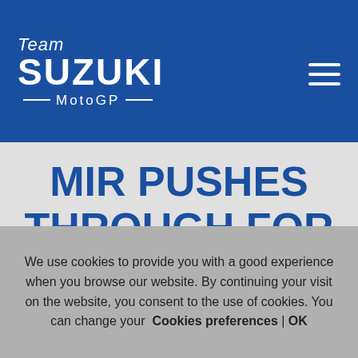Team SUZUKI MotoGP
MIR PUSHES THROUGH FOR FOURTH IN MONTMELO. RINS
We use cookies to provide you with a good experience when you browse our website. By continuing your visit on the website, you consent to the use of cookies. You can change your Cookies preferences | OK